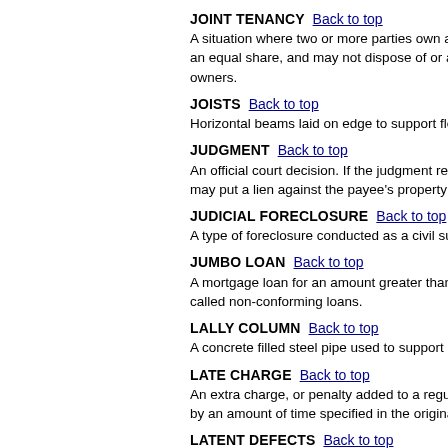JOINT TENANCY  Back to top
A situation where two or more parties own a property, each having an equal share, and may not dispose of or alter their share without the consent of the other owners.
JOISTS  Back to top
Horizontal beams laid on edge to support floor or ceiling loads.
JUDGMENT  Back to top
An official court decision. If the judgment requires the payment of a debt, the creditor may put a lien against the payee's property as security against the debt.
JUDICIAL FORECLOSURE  Back to top
A type of foreclosure conducted as a civil suit in a court of law.
JUMBO LOAN  Back to top
A mortgage loan for an amount greater than the conforming loan limit. These loans are also called non-conforming loans.
LALLY COLUMN  Back to top
A concrete filled steel pipe used to support beams and girders.
LATE CHARGE  Back to top
An extra charge, or penalty added to a regular payment when it is not paid on time, as specified by an amount of time specified in the original contract.
LATENT DEFECTS  Back to top
Any defect in a piece of property which is not visible and which affects its use or reduces its value. Structural damage or termite infestation are examples.
LEASE  Back to top
A contract between a property owner and a tenant.